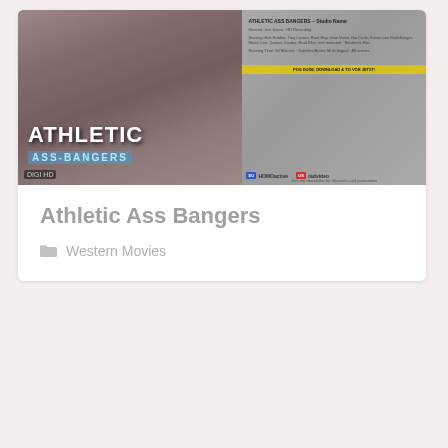[Figure (photo): DVD cover for 'Athletic Ass Bangers' showing the front and back of a DVD case with muscular figures, title text, logos for HOMAactive and radvideo]
Athletic Ass Bangers
Western Movies